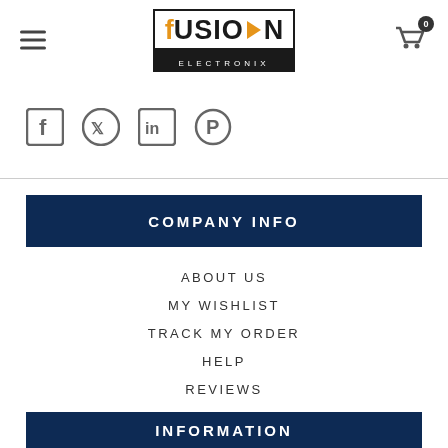fUSION ELECTRONIX — navigation header with menu icon, logo, and cart (0)
[Figure (infographic): Social media icons row: Facebook, Twitter, LinkedIn, Pinterest]
COMPANY INFO
ABOUT US
MY WISHLIST
TRACK MY ORDER
HELP
REVIEWS
INFORMATION